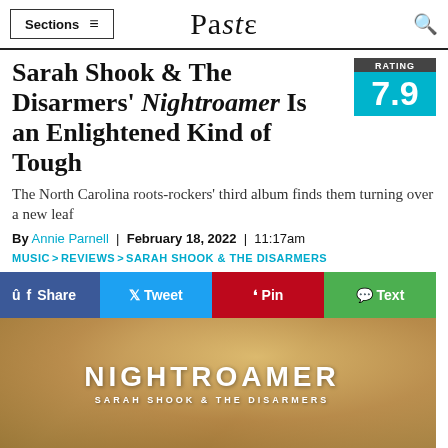Sections | Paste | Search
Sarah Shook & The Disarmers' Nightroamer Is an Enlightened Kind of Tough
RATING 7.9
The North Carolina roots-rockers' third album finds them turning over a new leaf
By Annie Parnell | February 18, 2022 | 11:17am
MUSIC > REVIEWS > SARAH SHOOK & THE DISARMERS
[Figure (screenshot): Social sharing buttons: Share (Facebook, dark blue), Tweet (Twitter, light blue), Pin (Pinterest, dark red), Text (green)]
[Figure (photo): Album cover for Nightroamer by Sarah Shook & The Disarmers, showing the album title in large white letters over a warm golden/brown background with a figure]